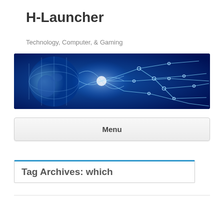H-Launcher
Technology, Computer, & Gaming
[Figure (illustration): Technology-themed banner image with a glowing blue globe on the left and circuit board / network connection lines on the right, all on a dark blue background with bright white glowing nodes.]
Menu
Tag Archives: which